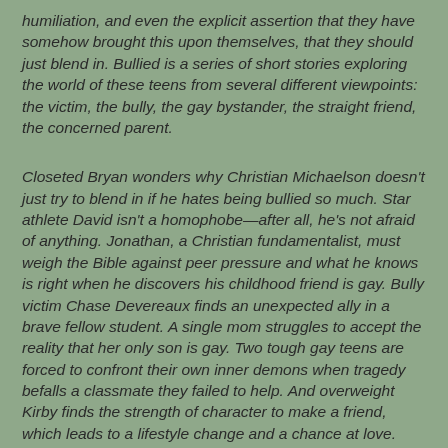humiliation, and even the explicit assertion that they have somehow brought this upon themselves, that they should just blend in. Bullied is a series of short stories exploring the world of these teens from several different viewpoints: the victim, the bully, the gay bystander, the straight friend, the concerned parent.
Closeted Bryan wonders why Christian Michaelson doesn't just try to blend in if he hates being bullied so much. Star athlete David isn't a homophobe—after all, he's not afraid of anything. Jonathan, a Christian fundamentalist, must weigh the Bible against peer pressure and what he knows is right when he discovers his childhood friend is gay. Bully victim Chase Devereaux finds an unexpected ally in a brave fellow student. A single mom struggles to accept the reality that her only son is gay. Two tough gay teens are forced to confront their own inner demons when tragedy befalls a classmate they failed to help. And overweight Kirby finds the strength of character to make a friend, which leads to a lifestyle change and a chance at love. Each character grows as an individual as he or she comes to terms with what it means to be a gay